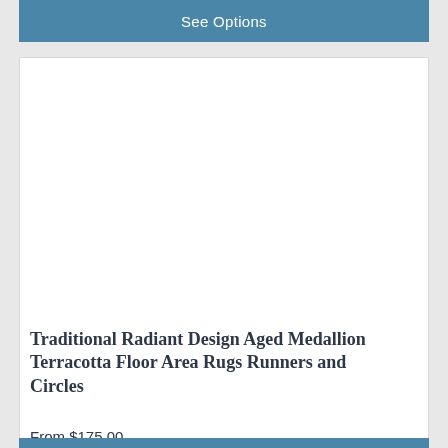See Options
[Figure (photo): Product image placeholder area (white/blank)]
Traditional Radiant Design Aged Medallion Terracotta Floor Area Rugs Runners and Circles
From $175.00